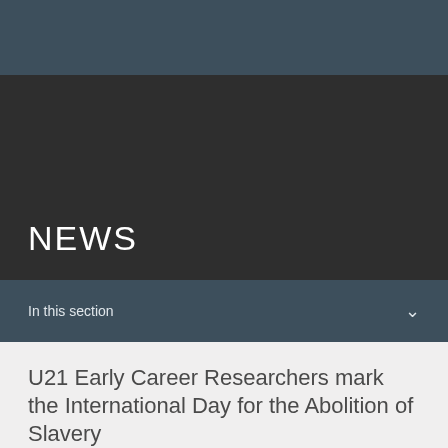NEWS
In this section
U21 Early Career Researchers mark the International Day for the Abolition of Slavery